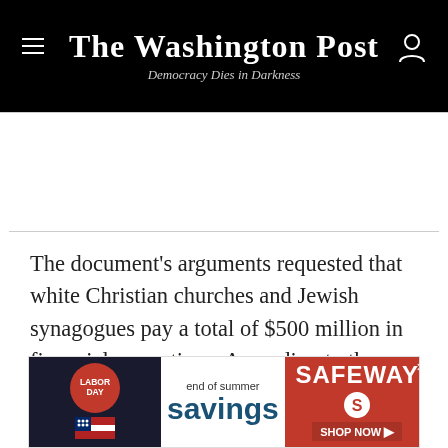The Washington Post — Democracy Dies in Darkness
The document's arguments requested that white Christian churches and Jewish synagogues pay a total of $500 million in financial reparations. According to the manifesto, the churches and synagogues were part of a capitalist system that made their wealth based on the exploitation of black people. The manifesto also outlined the future use of the reparations funds, which
[Figure (other): Advertisement banner: Labor Day end of summer savings — Safeway Shop Now]